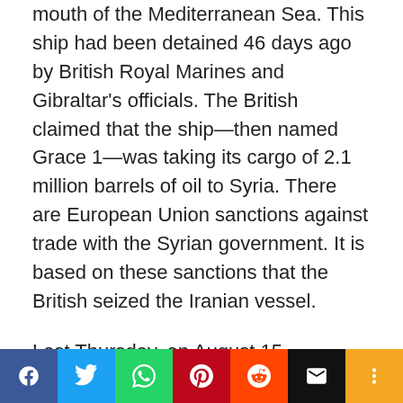mouth of the Mediterranean Sea. This ship had been detained 46 days ago by British Royal Marines and Gibraltar's officials. The British claimed that the ship—then named Grace 1—was taking its cargo of 2.1 million barrels of oil to Syria. There are European Union sanctions against trade with the Syrian government. It is based on these sanctions that the British seized the Iranian vessel.
Last Thursday, on August 15, Gibraltar's Chief Minister Fabian Picardo ordered the release of the ship after the Iranian authorities said it would not be going to Syria. The immediate destination for Adrian Darya 1 is the Greek port of Kalamata.
[Figure (other): Social media sharing bar with icons for Facebook, Twitter, WhatsApp, Pinterest, Reddit, Email, and More]